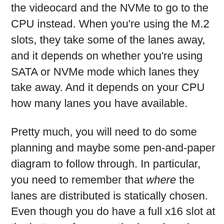the videocard and the NVMe to go to the CPU instead. When you're using the M.2 slots, they take some of the lanes away, and it depends on whether you're using SATA or NVMe mode which lanes they take away. And it depends on your CPU how many lanes you have available.
Pretty much, you will need to do some planning and maybe some pen-and-paper diagram to follow through. In particular, you need to remember that where the lanes are distributed is statically chosen. Even though you do have a full x16 slot at the bottom of your motherboard, and you have 16 free lanes to connect, that doesn't mean those two are connected. Indeed it turned out that the bottom slot only has x8 at best on my CPU, and instead I needed to move the Hyper M.2